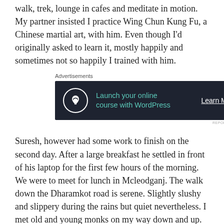walk, trek, lounge in cafes and meditate in motion. My partner insisted I practice Wing Chun Kung Fu, a Chinese martial art, with him. Even though I'd originally asked to learn it, mostly happily and sometimes not so happily I trained with him.
[Figure (other): Advertisement banner: dark navy background with WordPress/Teachable logo (white circle with tree icon), teal text 'Launch your online course with WordPress', white underlined 'Learn More' button. Label 'Advertisements' above, 'REPORT THIS AD' below right.]
Suresh, however had some work to finish on the second day. After a large breakfast he settled in front of his laptop for the first few hours of the morning. We were to meet for lunch in Mcleodganj. The walk down the Dharamkot road is serene. Slightly slushy and slippery during the rains but quiet nevertheless. I met old and young monks on my way down and up. Many of them were women. All the monks were in maroon robes. They looked at me, smiled and acknowledged me whenever I